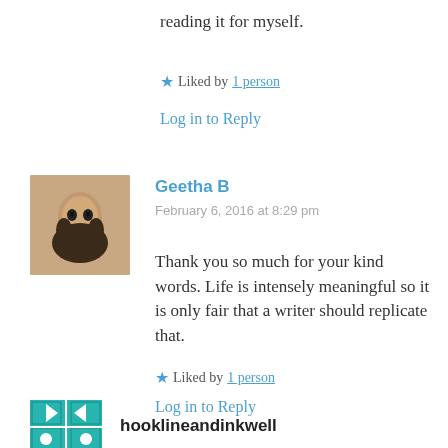reading it for myself.
★ Liked by 1 person
Log in to Reply
Geetha B
February 6, 2016 at 8:29 pm
Thank you so much for your kind words. Life is intensely meaningful so it is only fair that a writer should replicate that.
★ Liked by 1 person
Log in to Reply
hooklineandinkwell